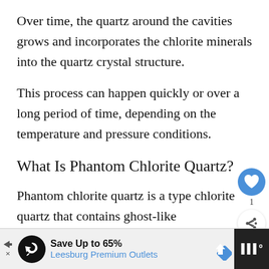Over time, the quartz around the cavities grows and incorporates the chlorite minerals into the quartz crystal structure.
This process can happen quickly or over a long period of time, depending on the temperature and pressure conditions.
What Is Phantom Chlorite Quartz?
Phantom chlorite quartz is a type chlorite quartz that contains ghost-like
[Figure (other): Social interaction buttons: heart/like button (blue circle with heart icon), like count showing 1, and share button (white circle with share icon)]
[Figure (other): What's Next widget showing a circular image of Dendritic Quartz with label 'WHAT'S NEXT' and text 'Dendritic Quartz...']
[Figure (other): Advertisement banner for Leesburg Premium Outlets: Save Up to 65%. Contains logo, navigation icon, and dark mute button area.]